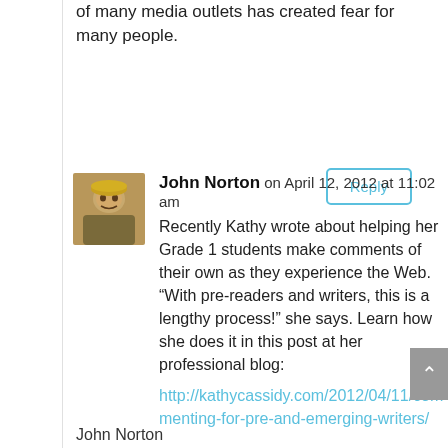of many media outlets has created fear for many people.
Reply
John Norton on April 12, 2012 at 11:02 am
Recently Kathy wrote about helping her Grade 1 students make comments of their own as they experience the Web. “With pre-readers and writers, this is a lengthy process!” she says. Learn how she does it in this post at her professional blog:
http://kathycassidy.com/2012/04/11/commenting-for-pre-and-emerging-writers/
John Norton